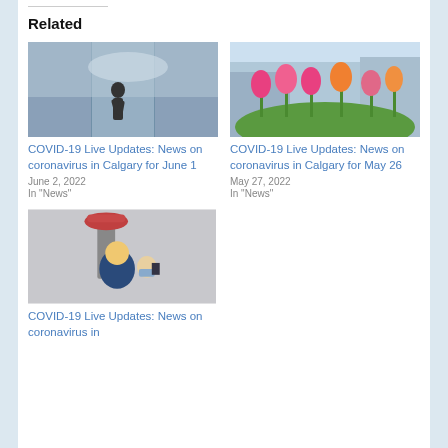Related
[Figure (photo): Person silhouetted against glass building windows]
COVID-19 Live Updates: News on coronavirus in Calgary for June 1
June 2, 2022
In "News"
[Figure (photo): Colorful tulips with a city background]
COVID-19 Live Updates: News on coronavirus in Calgary for May 26
May 27, 2022
In "News"
[Figure (photo): Person with mask near Calgary Tower]
COVID-19 Live Updates: News on coronavirus in